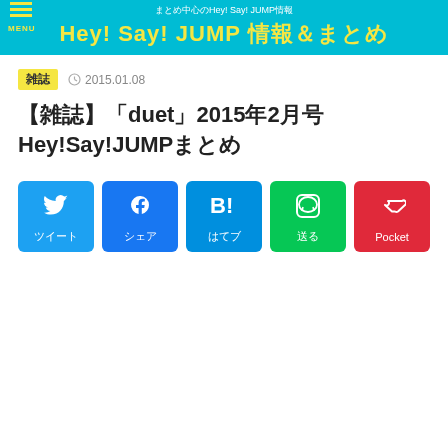まとめ中心のHey! Say! JUMP情報 Hey! Say! JUMP 情報＆まとめ
雑誌  2015.01.08
【雑誌】「duet」2015年2月号 Hey!Say!JUMPまとめ
[Figure (infographic): Social share buttons: Twitter (ツイート), Facebook (シェア), Hatena Bookmark (はてブ), LINE (送る), Pocket]